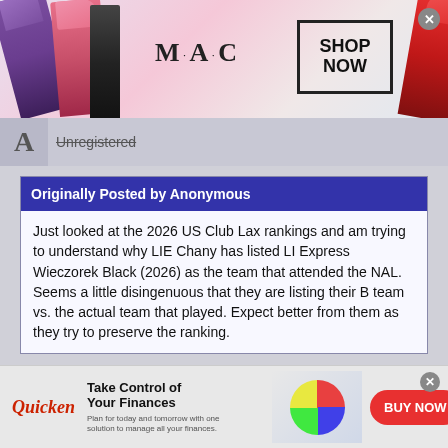[Figure (photo): MAC Cosmetics advertisement banner showing lipsticks (purple, pink, black, red), MAC logo, and SHOP NOW box]
A  Unregistered
Originally Posted by Anonymous
Just looked at the 2026 US Club Lax rankings and am trying to understand why LIE Chany has listed LI Express Wieczorek Black (2026) as the team that attended the NAL. Seems a little disingenuous that they are listing their B team vs. the actual team that played. Expect better from them as they try to preserve the ranking.
Actually that's the C team. They don't control US club lacrosse. Many times their stats come from tourney machine
[Figure (photo): Quicken advertisement: Take Control of Your Finances, with woman at computer, colorful pie chart graphic, and BUY NOW button]